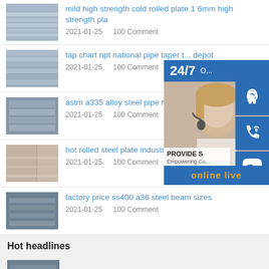mild high strength cold rolled plate 1 6mm high strength pla
2021-01-25    100 Comment
tap chart npt national pipe taper ... depot
2021-01-25    100 Comment
astm a335 alloy steel pipe hot sa...
2021-01-25    100 Comment
hot rolled steel plate industry
2021-01-25    100 Comment
factory price ss400 a36 steel beam sizes
2021-01-25    100 Comment
[Figure (infographic): 24/7 online support widget with customer service photo, phone icon, Skype icon, and online live button]
Hot headlines
[Figure (photo): Steel product thumbnail image at bottom]